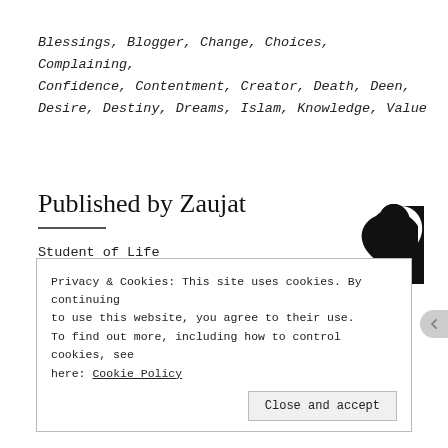Blessings, Blogger, Change, Choices, Complaining, Confidence, Contentment, Creator, Death, Deen, Desire, Destiny, Dreams, Islam, Knowledge, Value
Published by Zaujat
[Figure (illustration): Black silhouette of a person wearing a hijab, facing left]
Student of Life
View all posts by Zaujat
Privacy & Cookies: This site uses cookies. By continuing to use this website, you agree to their use. To find out more, including how to control cookies, see here: Cookie Policy
Close and accept